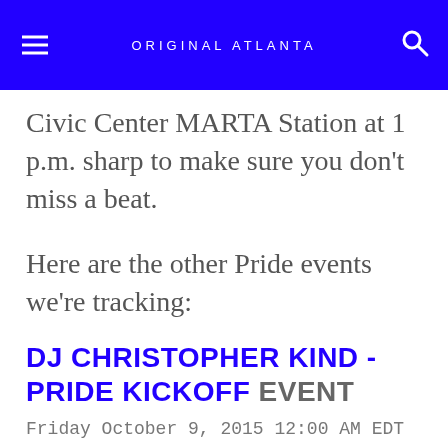ORIGINAL ATLANTA
Civic Center MARTA Station at 1 p.m. sharp to make sure you don't miss a beat.
Here are the other Pride events we're tracking:
DJ CHRISTOPHER KIND - PRIDE KICKOFF EVENT
Friday October 9, 2015 12:00 AM EDT 7 years ago
...